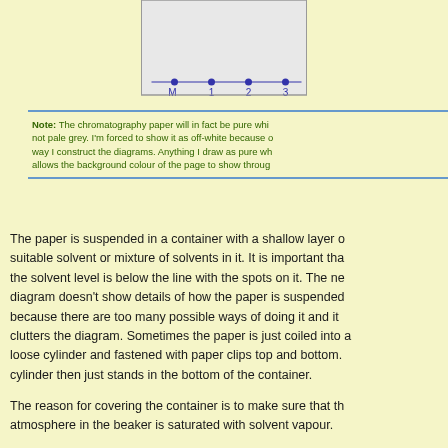[Figure (illustration): Chromatography paper diagram showing a baseline with spots labeled M, 1, 2, 3 at the bottom of a rectangular pale grey paper strip]
Note: The chromatography paper will in fact be pure white, not pale grey. I'm forced to show it as off-white because of the way I construct the diagrams. Anything I draw as pure white allows the background colour of the page to show through.
The paper is suspended in a container with a shallow layer of suitable solvent or mixture of solvents in it. It is important that the solvent level is below the line with the spots on it. The next diagram doesn't show details of how the paper is suspended because there are too many possible ways of doing it and it clutters the diagram. Sometimes the paper is just coiled into a loose cylinder and fastened with paper clips top and bottom. The cylinder then just stands in the bottom of the container.
The reason for covering the container is to make sure that the atmosphere in the beaker is saturated with solvent vapour.